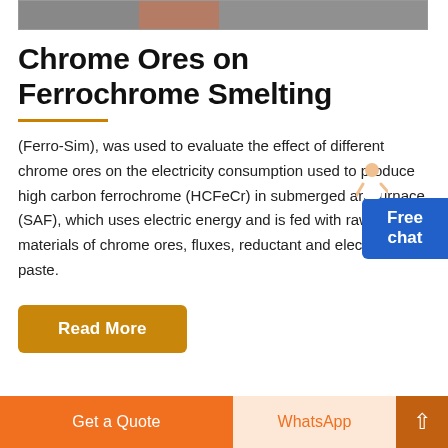[Figure (photo): Partial image strip at top showing industrial/smelting scene]
Chrome Ores on Ferrochrome Smelting
(Ferro-Sim), was used to evaluate the effect of different chrome ores on the electricity consumption used to produce high carbon ferrochrome (HCFeCr) in submerged arc furnace (SAF), which uses electric energy and is fed with raw materials of chrome ores, fluxes, reductant and electrode paste.
Read More
Free chat
Get a Quote   WhatsApp   ↑